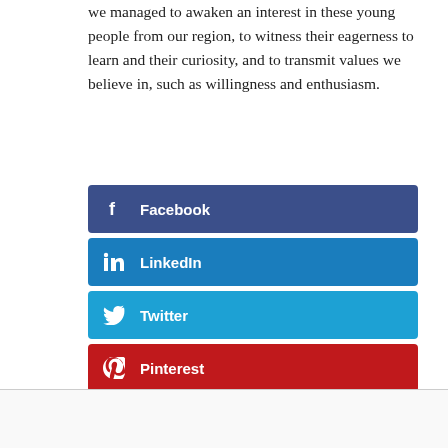we managed to awaken an interest in these young people from our region, to witness their eagerness to learn and their curiosity, and to transmit values we believe in, such as willingness and enthusiasm.
[Figure (infographic): Four social media share buttons stacked vertically: Facebook (dark blue), LinkedIn (medium blue), Twitter (light blue), Pinterest (red), each with icon and label in white bold text.]